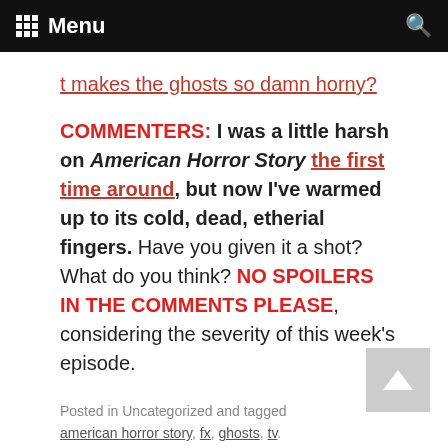Menu
t makes the ghosts so damn horny?
COMMENTERS: I was a little harsh on American Horror Story the first time around, but now I've warmed up to its cold, dead, etherial fingers. Have you given it a shot? What do you think? NO SPOILERS IN THE COMMENTS PLEASE, considering the severity of this week's episode.
Posted in Uncategorized and tagged american horror story, fx, ghosts, tv.